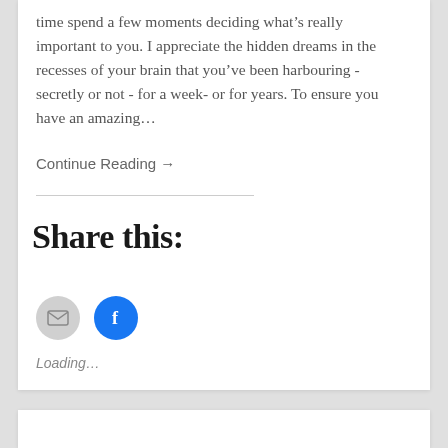time spend a few moments deciding what's really important to you. I appreciate the hidden dreams in the recesses of your brain that you've been harbouring - secretly or not - for a week- or for years. To ensure you have an amazing...
Continue Reading →
Share this:
[Figure (infographic): Two circular social share buttons: a gray email icon and a blue Facebook icon]
Loading...